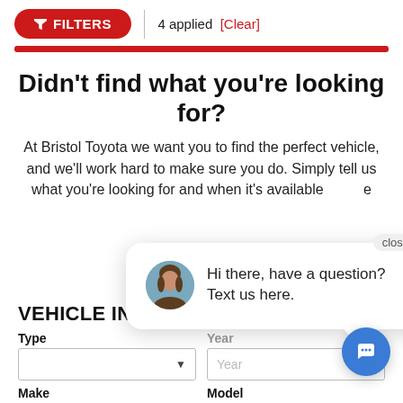FILTERS | 4 applied [Clear]
Didn't find what you're looking for?
At Bristol Toyota we want you to find the perfect vehicle, and we'll work hard to make sure you do. Simply tell us what you're looking for and when it's available we'll be the first to know.
[Figure (screenshot): Chat popup with avatar photo of a woman, text reading 'Hi there, have a question? Text us here.' with a close button and speech bubble tail. A blue circular chat icon button is visible in the bottom right.]
VEHICLE IN...
Type | Year (form fields with dropdown and text input)
Make | Model (form labels)